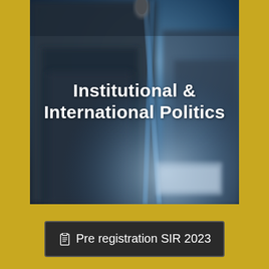[Figure (photo): Blurred photo of a person in a dark suit at a podium with a microphone stand in blue tones, representing institutional or political setting]
Institutional & International Politics
Pre registration SIR 2023